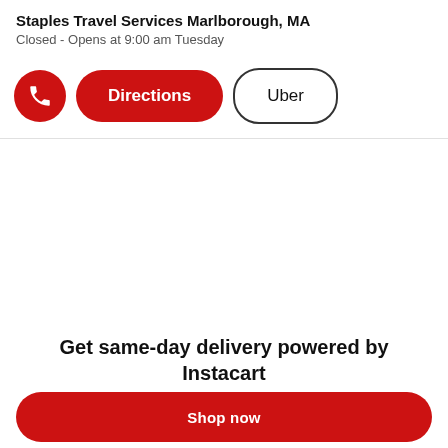Staples Travel Services Marlborough, MA
Closed - Opens at 9:00 am Tuesday
[Figure (infographic): Row of three interactive buttons: a red circular phone icon button, a red pill-shaped 'Directions' button, and a white pill-shaped 'Uber' button with black border.]
Get same-day delivery powered by Instacart
[Figure (infographic): Partially visible red pill-shaped button at the bottom of the screen, typical of a 'Shop now' or similar CTA button.]